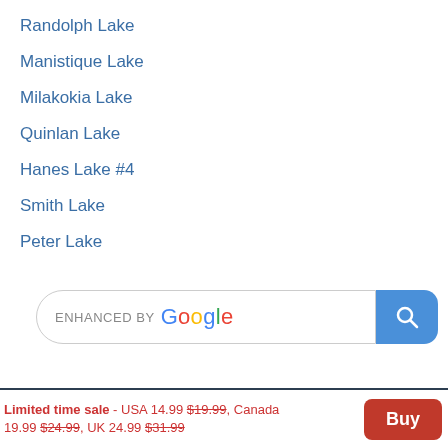Randolph Lake
Manistique Lake
Milakokia Lake
Quinlan Lake
Hanes Lake #4
Smith Lake
Peter Lake
[Figure (screenshot): Google enhanced search bar with search button]
Limited time sale - USA 14.99 $19.99, Canada 19.99 $24.99, UK 24.99 $31.99